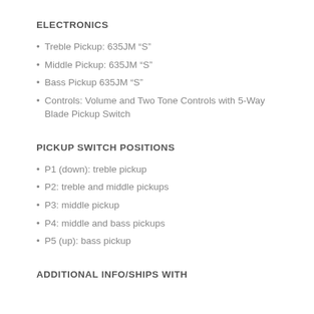ELECTRONICS
Treble Pickup: 635JM “S”
Middle Pickup: 635JM “S”
Bass Pickup 635JM “S”
Controls: Volume and Two Tone Controls with 5-Way Blade Pickup Switch
PICKUP SWITCH POSITIONS
P1 (down): treble pickup
P2: treble and middle pickups
P3: middle pickup
P4: middle and bass pickups
P5 (up): bass pickup
ADDITIONAL INFO/SHIPS WITH